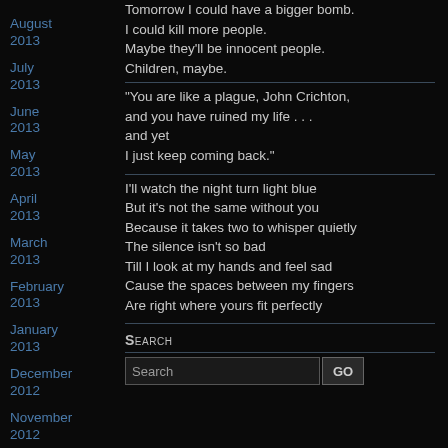Tomorrow I could have a bigger bomb. I could kill more people. Maybe they'll be innocent people. Children, maybe.
August 2013
July 2013
"You are like a plague, John Crichton, and you have ruined my life . . . and yet I just keep coming back."
June 2013
May 2013
I'll watch the night turn light blue
But it's not the same without you
Because it takes two to whisper quietly
The silence isn't so bad
Till I look at my hands and feel sad
Cause the spaces between my fingers
Are right where yours fit perfectly
April 2013
March 2013
February 2013
January 2013
December 2012
November 2012
October
Search
Search GO